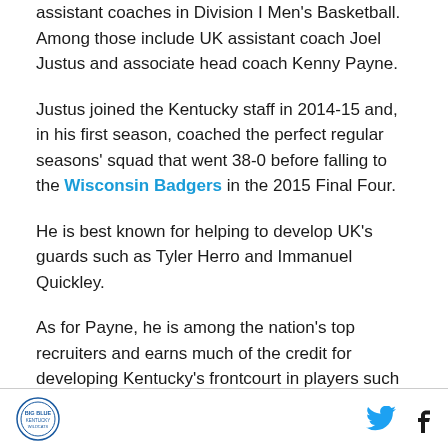assistant coaches in Division I Men's Basketball. Among those include UK assistant coach Joel Justus and associate head coach Kenny Payne.
Justus joined the Kentucky staff in 2014-15 and, in his first season, coached the perfect regular seasons' squad that went 38-0 before falling to the Wisconsin Badgers in the 2015 Final Four.
He is best known for helping to develop UK's guards such as Tyler Herro and Immanuel Quickley.
As for Payne, he is among the nation's top recruiters and earns much of the credit for developing Kentucky's frontcourt in players such as Nerlens Noel, Julius